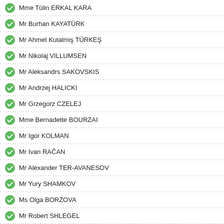Mme Tülin ERKAL KARA
Mr Burhan KAYATÜRK
Mr Ahmet Kutalmiş TÜRKEŞ
Mr Nikolaj VILLUMSEN
Mr Aleksandrs SAKOVSKIS
Mr Andrzej HALICKI
Mr Grzegorz CZELEJ
Mme Bernadette BOURZAI
Mr Igor KOLMAN
Mr Ivan RAČAN
Mr Alexander TER-AVANESOV
Mr Yury SHAMKOV
Ms Olga BORZOVA
Mr Robert SHLEGEL
Mr Tamerlan AGUZAROV
Mr Alexander SIDYAKIN
Mr Leonid KALASHNIKOV